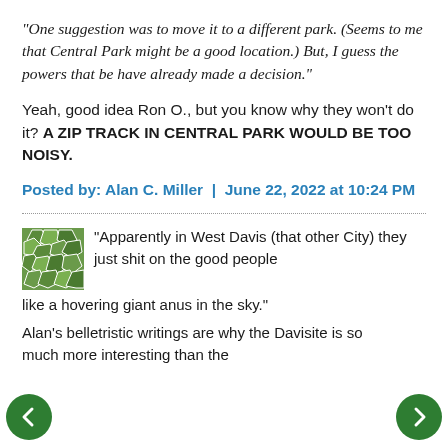"One suggestion was to move it to a different park. (Seems to me that Central Park might be a good location.) But, I guess the powers that be have already made a decision."
Yeah, good idea Ron O., but you know why they won't do it? A ZIP TRACK IN CENTRAL PARK WOULD BE TOO NOISY.
Posted by: Alan C. Miller | June 22, 2022 at 10:24 PM
[Figure (illustration): Green mosaic/tile avatar icon]
"Apparently in West Davis (that other City) they just shit on the good people like a hovering giant anus in the sky."
Alan's belletristic writings are why the Davisite is so much more interesting than the
[Figure (other): Left navigation arrow (green circle with white left arrow)]
[Figure (other): Right navigation arrow (green circle with white right arrow)]